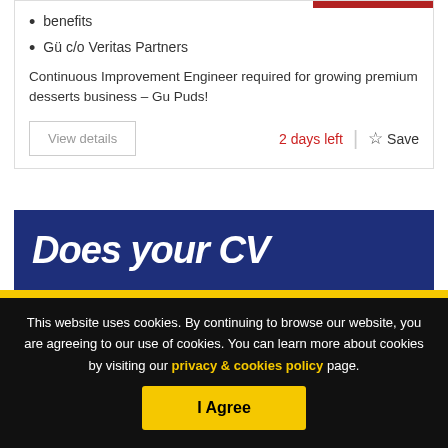benefits
Gü c/o Veritas Partners
Continuous Improvement Engineer required for growing premium desserts business – Gu Puds!
View details
2 days left
Save
[Figure (screenshot): Dark blue banner with white bold italic text 'Does your CV']
This website uses cookies. By continuing to browse our website, you are agreeing to our use of cookies. You can learn more about cookies by visiting our privacy & cookies policy page.
I Agree